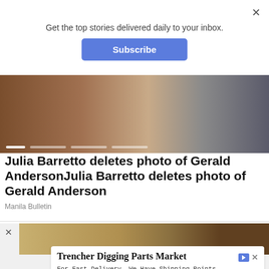Get the top stories delivered daily to your inbox.
Subscribe
[Figure (photo): Slideshow image of a person in a corridor, dark tones with warm and cool gradient; slide progress indicators at the bottom]
Julia Barretto deletes photo of Gerald AndersonJulia Barretto deletes photo of Gerald Anderson
Manila Bulletin
[Figure (photo): Partial view of a person's head with dark hair against a sandy/textured background]
Trencher Digging Parts Market
For Fast Delivery, We Have Shipping Points Throughout the United States
Replacement Digging Parts
Open